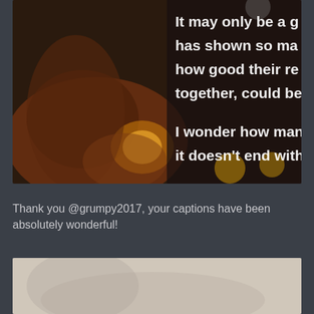[Figure (photo): Photo of a woman holding a glowing cup, with overlaid white text reading: 'It may only be a g... has shown so ma... how good their re... together, could be... I wonder how man... it doesn't end with...']
Thank you @grumpy2017, your captions have been absolutely wonderful!
[Figure (photo): Partial photo at bottom of page, partially visible, appears to show a person or scene with light background.]